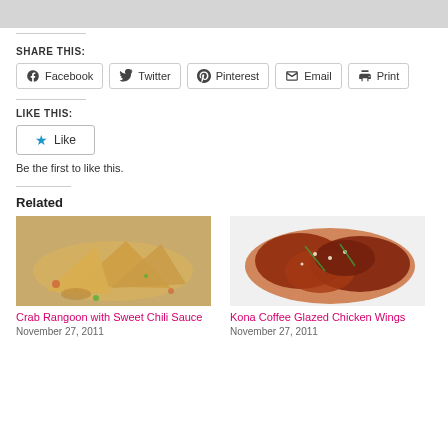[Figure (other): Gray banner image at top of page]
SHARE THIS:
Facebook | Twitter | Pinterest | Email | Print (share buttons)
LIKE THIS:
Like
Be the first to like this.
Related
[Figure (photo): Photo of Crab Rangoon with Sweet Chili Sauce on a white plate]
Crab Rangoon with Sweet Chili Sauce
November 27, 2011
[Figure (photo): Photo of Kona Coffee Glazed Chicken Wings on a white plate]
Kona Coffee Glazed Chicken Wings
November 27, 2011